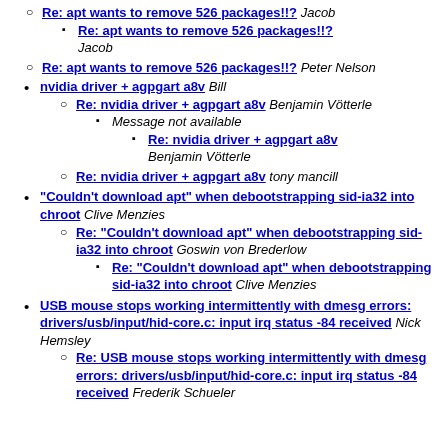Re: apt wants to remove 526 packages!!? Jacob
Re: apt wants to remove 526 packages!!? Jacob
Re: apt wants to remove 526 packages!!? Peter Nelson
nvidia driver + agpgart a8v Bill
Re: nvidia driver + agpgart a8v Benjamin Vötterle
Message not available
Re: nvidia driver + agpgart a8v Benjamin Vötterle
Re: nvidia driver + agpgart a8v tony mancill
"Couldn't download apt" when debootstrapping sid-ia32 into chroot Clive Menzies
Re: "Couldn't download apt" when debootstrapping sid-ia32 into chroot Goswin von Brederlow
Re: "Couldn't download apt" when debootstrapping sid-ia32 into chroot Clive Menzies
USB mouse stops working intermittently with dmesg errors: drivers/usb/input/hid-core.c: input irq status -84 received Nick Hemsley
Re: USB mouse stops working intermittently with dmesg errors: drivers/usb/input/hid-core.c: input irq status -84 received Frederik Schueler